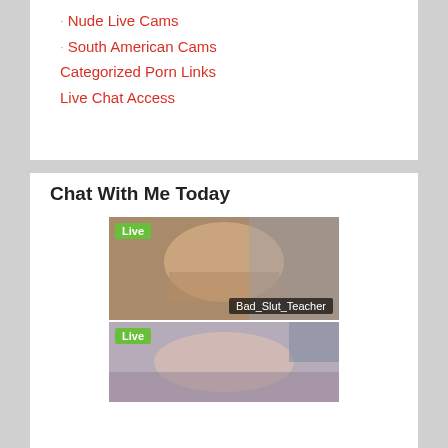Nude Live Cams
South American Cams
Categorized Porn Links
Live Chat Access
Chat With Me Today
[Figure (photo): Thumbnail image with Live badge and username Bad_Slut_Teacher]
[Figure (photo): Second thumbnail image with Live badge]